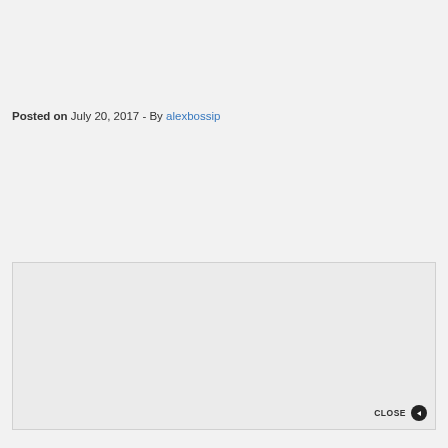Posted on July 20, 2017 - By alexbossip
[Figure (other): Advertisement placeholder box with a CLOSE button in the bottom-right corner]